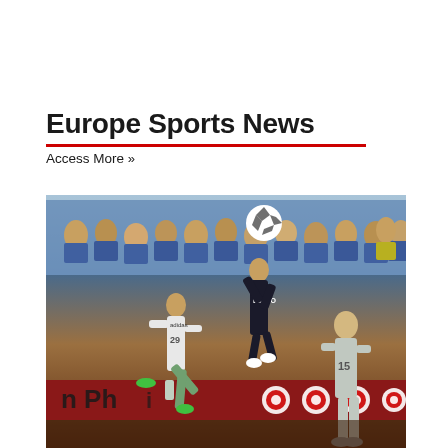Europe Sports News
Access More »
[Figure (photo): Soccer match action photo showing players from two teams competing for a header. A player in a black BINGO jersey jumps to head the ball, while a player in white (#29) challenges. A third player in grey (#15) stands in the foreground. Stadium crowd visible in background with Target advertising boards along the pitch. Text 'n Phi' visible on advertising board.]